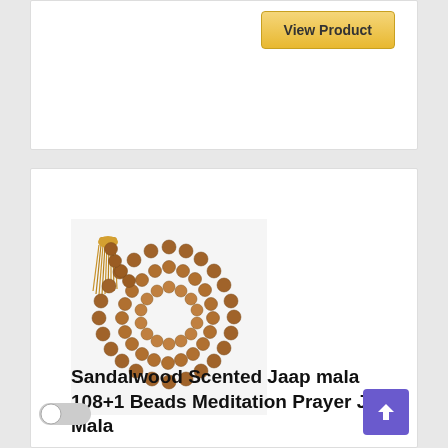[Figure (screenshot): View Product button in gold/yellow on white card background (top partial card)]
[Figure (photo): Sandalwood mala bead necklace with 108+1 beads and golden tassel, coiled in circular arrangement on white background]
Sandalwood Scented Jaap mala 108+1 Beads Meditation Prayer Japa Mala